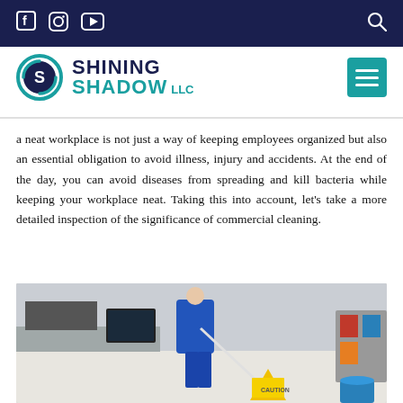Shining Shadow LLC — navigation bar with social icons (Facebook, Instagram, YouTube) and search icon
[Figure (logo): Shining Shadow LLC logo with circular S graphic in teal and navy, text reading SHINING SHADOW LLC]
a neat workplace is not just a way of keeping employees organized but also an essential obligation to avoid illness, injury and accidents. At the end of the day, you can avoid diseases from spreading and kill bacteria while keeping your workplace neat. Taking this into account, let’s take a more detailed inspection of the significance of commercial cleaning.
[Figure (photo): A person in blue work uniform mopping an office floor with a yellow CAUTION wet floor sign visible and cleaning cart in background]